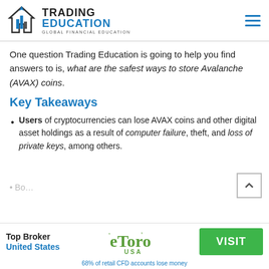Trading Education - Global Financial Education
One question Trading Education is going to help you find answers to is, what are the safest ways to store Avalanche (AVAX) coins.
Key Takeaways
Users of cryptocurrencies can lose AVAX coins and other digital asset holdings as a result of computer failure, theft, and loss of private keys, among others.
[Figure (logo): eToro USA logo with green stylized text]
Top Broker United States
VISIT
68% of retail CFD accounts lose money